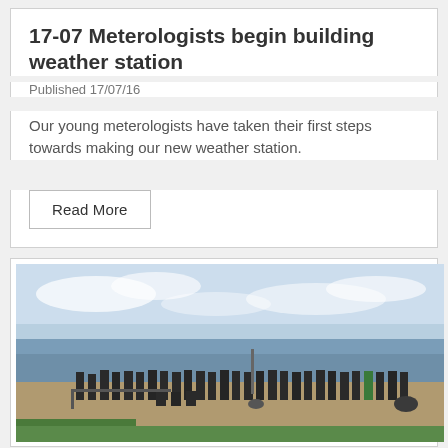17-07 Meterologists begin building weather station
Published 17/07/16
Our young meterologists have taken their first steps towards making our new weather station.
Read More
[Figure (photo): Group photo of school students in dark uniforms standing in a long row along a seafront promenade with the sea and sky visible in the background. Some students are seated, and there is green grass in the foreground.]